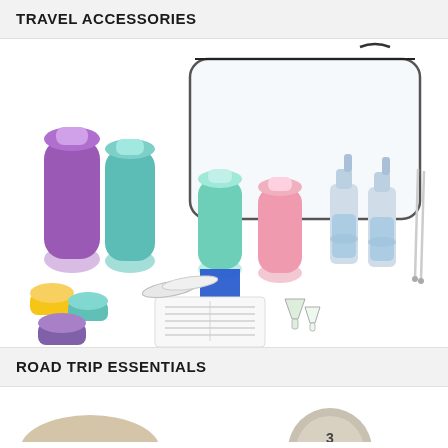TRAVEL ACCESSORIES
[Figure (photo): A travel accessories set including colorful silicone squeeze bottles (purple, teal, mint, pink), a clear zippered toiletry bag, small cosmetic jars (yellow, teal, purple), spray bottles with blue liquid, small funnels, labels sheet, and cleaning brushes, with a blue upward arrow icon overlaid on the bottles.]
ROAD TRIP ESSENTIALS
[Figure (photo): Partially visible road trip essentials products at the bottom of the page.]